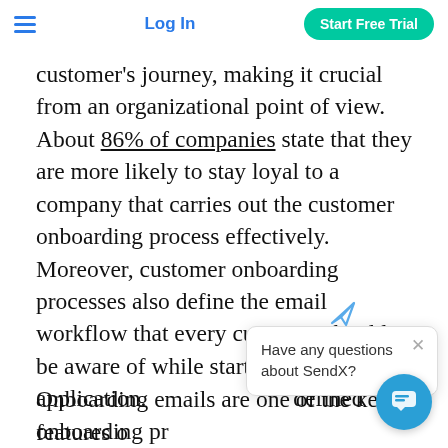Log In | Start Free Trial
customer's journey, making it crucial from an organizational point of view. About 86% of companies state that they are more likely to stay loyal to a company that carries out the customer onboarding process effectively. Moreover, customer onboarding processes also define the email workflow that every customer should be aware of while starting to use any application. [partially obscured] defined onboarding pr[ocess] customer has enough k[nowledge about the] application and its features.
Have any questions about SendX?
Onboarding emails are one of the key features o[f customer onboarding, providing dedicated support and]